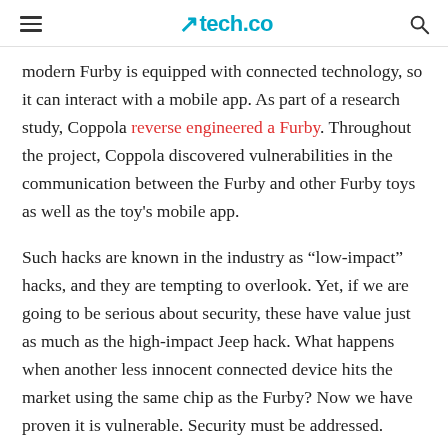tech.co
modern Furby is equipped with connected technology, so it can interact with a mobile app. As part of a research study, Coppola reverse engineered a Furby. Throughout the project, Coppola discovered vulnerabilities in the communication between the Furby and other Furby toys as well as the toy's mobile app.
Such hacks are known in the industry as “low-impact” hacks, and they are tempting to overlook. Yet, if we are going to be serious about security, these have value just as much as the high-impact Jeep hack. What happens when another less innocent connected device hits the market using the same chip as the Furby? Now we have proven it is vulnerable. Security must be addressed.